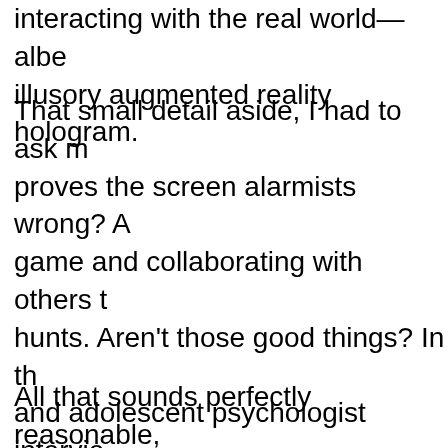interacting with the real world—albeit an illusory augmented reality hologram.
That small detail aside, I had to ask myself: does this prove the screen alarmists wrong? After all, kids are playing a game and collaborating with others to organize scavenger hunts. Aren't those good things? In the book, the child and adolescent psychologist interviewed says: the game gets kids out in the world and promotes socializing. Kids using it as a tool to connect to each other.
All that sounds perfectly reasonable, but research indicates the science from a child's...